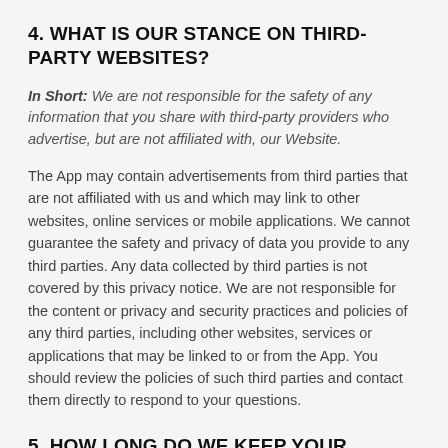4. WHAT IS OUR STANCE ON THIRD-PARTY WEBSITES?
In Short: We are not responsible for the safety of any information that you share with third-party providers who advertise, but are not affiliated with, our Website.
The App may contain advertisements from third parties that are not affiliated with us and which may link to other websites, online services or mobile applications. We cannot guarantee the safety and privacy of data you provide to any third parties. Any data collected by third parties is not covered by this privacy notice. We are not responsible for the content or privacy and security practices and policies of any third parties, including other websites, services or applications that may be linked to or from the App. You should review the policies of such third parties and contact them directly to respond to your questions.
5. HOW LONG DO WE KEEP YOUR INFORMATION?